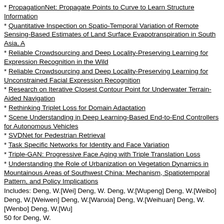* PropagationNet: Propagate Points to Curve to Learn Structure Information
* Quantitative Inspection on Spatio-Temporal Variation of Remote Sensing-Based Estimates of Land Surface Evapotranspiration in South Asia, A
* Reliable Crowdsourcing and Deep Locality-Preserving Learning for Expression Recognition in the Wild
* Reliable Crowdsourcing and Deep Locality-Preserving Learning for Unconstrained Facial Expression Recognition
* Research on Iterative Closest Contour Point for Underwater Terrain-Aided Navigation
* Rethinking Triplet Loss for Domain Adaptation
* Scene Understanding in Deep Learning-Based End-to-End Controllers for Autonomous Vehicles
* SVDNet for Pedestrian Retrieval
* Task Specific Networks for Identity and Face Variation
* Triple-GAN: Progressive Face Aging with Triple Translation Loss
* Understanding the Role of Urbanization on Vegetation Dynamics in Mountainous Areas of Southwest China: Mechanism, Spatiotemporal Pattern, and Policy Implications
Includes: Deng, W.[Wei] Deng, W. Deng, W.[Wupeng] Deng, W.[Weibo] Deng, W.[Weiwen] Deng, W.[Wanxia] Deng, W.[Weihuan] Deng, W.[Wenbo] Deng, W.[Wu]
50 for Deng, W.